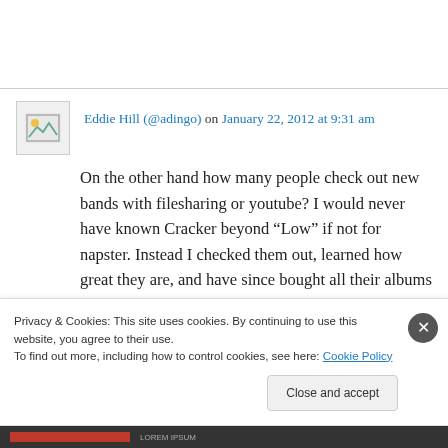Eddie Hill (@adingo) on January 22, 2012 at 9:31 am
On the other hand how many people check out new bands with filesharing or youtube? I would never have known Cracker beyond “Low” if not for napster. Instead I checked them out, learned how great they are, and have since bought all their albums and seen them and David and
Privacy & Cookies: This site uses cookies. By continuing to use this website, you agree to their use.
To find out more, including how to control cookies, see here: Cookie Policy
Close and accept